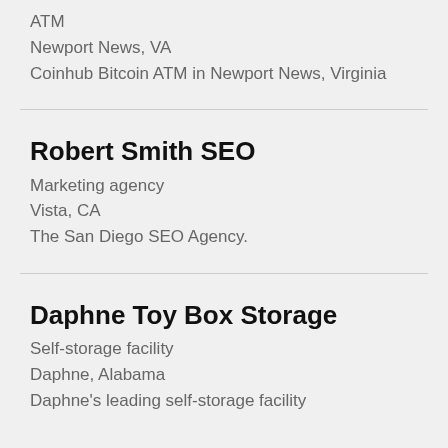ATM
Newport News, VA
Coinhub Bitcoin ATM in Newport News, Virginia
Robert Smith SEO
Marketing agency
Vista, CA
The San Diego SEO Agency.
Daphne Toy Box Storage
Self-storage facility
Daphne, Alabama
Daphne's leading self-storage facility